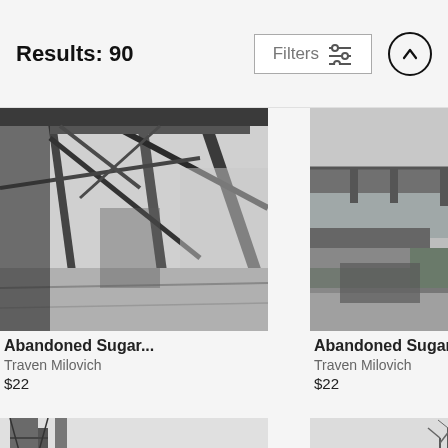Results: 90
[Figure (screenshot): Filters button with sliders icon and up arrow button]
[Figure (photo): Black and white photo of abandoned sugar mill interior with steel beams]
Abandoned Sugar...
Traven Milovich
$22
[Figure (photo): Black and white photo of abandoned sugarmill exterior with water and bridge]
Abandoned Sugarmill
Traven Milovich
$22
[Figure (photo): Black and white photo of tall industrial structure with bare trees]
[Figure (photo): Black and white photo of abandoned industrial buildings with canopy structure]